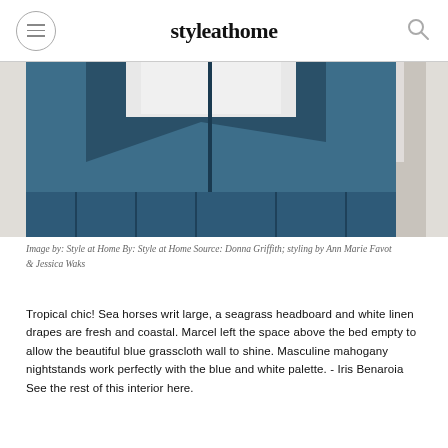styleathome
[Figure (photo): Close-up photo of a blue seagrass headboard with white linen, against a beige/grey background. The bottom portion of the headboard and bed are visible.]
Image by: Style at Home By: Style at Home Source: Donna Griffith; styling by Ann Marie Favot & Jessica Waks
Tropical chic! Sea horses writ large, a seagrass headboard and white linen drapes are fresh and coastal. Marcel left the space above the bed empty to allow the beautiful blue grasscloth wall to shine. Masculine mahogany nightstands work perfectly with the blue and white palette. - Iris Benaroia See the rest of this interior here.